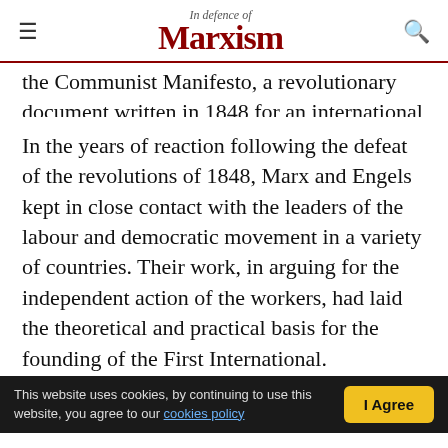In defence of Marxism
the Communist Manifesto, a revolutionary document written in 1848 for an international workers' party.
In the years of reaction following the defeat of the revolutions of 1848, Marx and Engels kept in close contact with the leaders of the labour and democratic movement in a variety of countries. Their work, in arguing for the independent action of the workers, had laid the theoretical and practical basis for the founding of the First International.
Marx threw himself into the establishment of the
This website uses cookies, by continuing to use this website, you agree to our cookies policy   I Agree